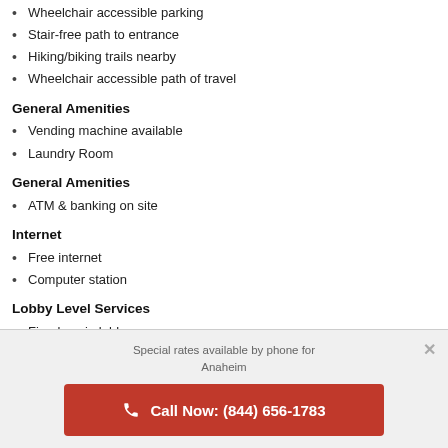Wheelchair accessible parking
Stair-free path to entrance
Hiking/biking trails nearby
Wheelchair accessible path of travel
General Amenities
Vending machine available
Laundry Room
General Amenities
ATM & banking on site
Internet
Free internet
Computer station
Lobby Level Services
Fireplace in lobby
Luggage storage facilities
24/7 front desk
Safe deposit box at front desk
Concierge service
Special rates available by phone for Anaheim
Call Now: (844) 656-1783